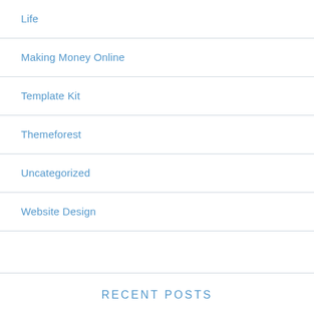Life
Making Money Online
Template Kit
Themeforest
Uncategorized
Website Design
RECENT POSTS